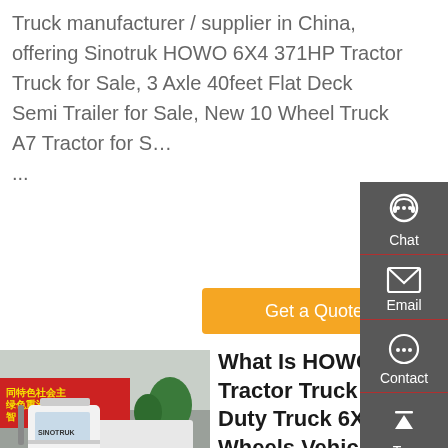Truck manufacturer / supplier in China, offering Sinotruk HOWO 6X4 371HP Tractor Truck for Sale, 3 Axle 40feet Flat Deck Semi Trailer for Sale, New 10 Wheel Truck A7 Tractor for S… ...
[Figure (other): Orange 'Get a Quote' button]
[Figure (photo): Photo of a white HOWO tractor truck (6x4 heavy duty) parked outdoors in front of a building with Chinese signage]
What Is HOWO Tractor Truck Heavy Duty Truck 6X4 10 Wheels Vehicle From China For Sales